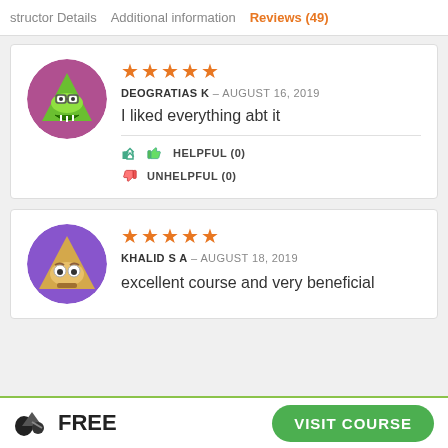structor Details   Additional information   Reviews (49)
[Figure (illustration): Cartoon avatar of a green triangle monster with glasses in a pink/magenta circular background]
★★★★★
DEOGRATIAS K – AUGUST 16, 2019
I liked everything abt it
👍 HELPFUL (0)
👎 UNHELPFUL (0)
[Figure (illustration): Cartoon avatar of a triangular character with big eyes and a worried expression in a purple circular background]
★★★★★
KHALID S A – AUGUST 18, 2019
excellent course and very beneficial
FREE   VISIT COURSE